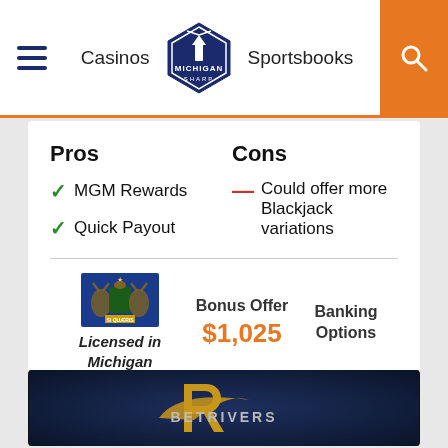Casinos  Michigan Sharp  Sportsbooks
Pros
MGM Rewards
Quick Payout
Cons
Could offer more Blackjack variations
Licensed in Michigan
Bonus Offer $1,025
Banking Options
[Figure (logo): BetRivers logo on dark background with gold R symbol and BETRIVERS text]